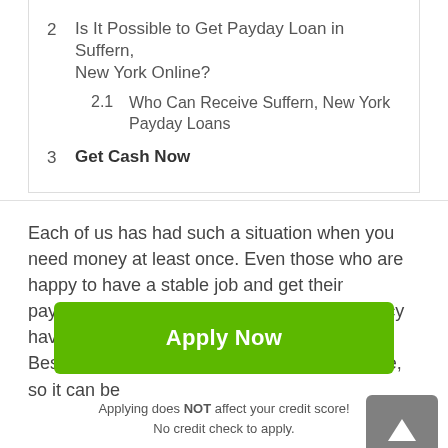2  Is It Possible to Get Payday Loan in Suffern, New York Online?
2.1  Who Can Receive Suffern, New York Payday Loans
3  Get Cash Now
Each of us has had such a situation when you need money at least once. Even those who are happy to have a stable job and get their paychecks regularly can get into an emergency having to find money without any questions. Besides, Suffern in New York, is a costly place, so it can be
Apply Now
Applying does NOT affect your credit score!
No credit check to apply.